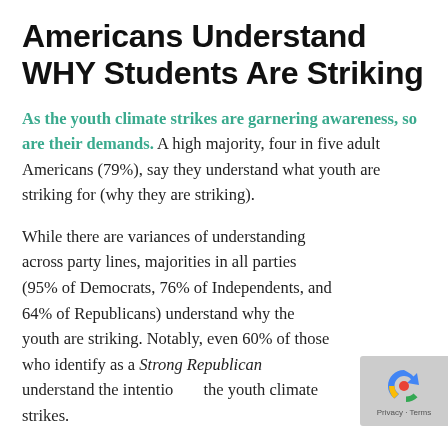Americans Understand WHY Students Are Striking
As the youth climate strikes are garnering awareness, so are their demands. A high majority, four in five adult Americans (79%), say they understand what youth are striking for (why they are striking).
While there are variances of understanding across party lines, majorities in all parties (95% of Democrats, 76% of Independents, and 64% of Republicans) understand why the youth are striking. Notably, even 60% of those who identify as a Strong Republican understand the intention of the youth climate strikes.
[Figure (logo): reCAPTCHA logo overlay with 'Privacy - Terms' text in bottom right corner]